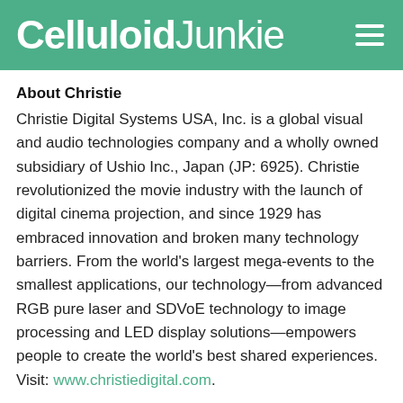Celluloid Junkie
About Christie
Christie Digital Systems USA, Inc. is a global visual and audio technologies company and a wholly owned subsidiary of Ushio Inc., Japan (JP: 6925). Christie revolutionized the movie industry with the launch of digital cinema projection, and since 1929 has embraced innovation and broken many technology barriers. From the world's largest mega-events to the smallest applications, our technology—from advanced RGB pure laser and SDVoE technology to image processing and LED display solutions—empowers people to create the world's best shared experiences. Visit: www.christiedigital.com.